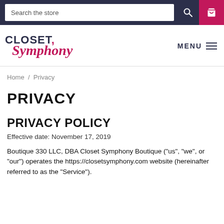Search the store
[Figure (logo): Closet Symphony logo with 'CLOSET' in dark navy bold uppercase and 'Symphony' in pink italic script]
Home / Privacy
PRIVACY
PRIVACY POLICY
Effective date: November 17, 2019
Boutique 330 LLC, DBA Closet Symphony Boutique ("us", "we", or "our") operates the https://closetsymphony.com website (hereinafter referred to as the "Service").